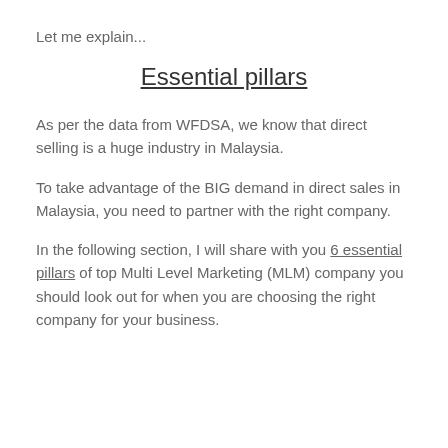Let me explain…
Essential pillars
As per the data from WFDSA, we know that direct selling is a huge industry in Malaysia.
To take advantage of the BIG demand in direct sales in Malaysia, you need to partner with the right company.
In the following section, I will share with you 6 essential pillars of top Multi Level Marketing (MLM) company you should look out for when you are choosing the right company for your business.